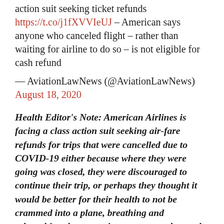action suit seeking ticket refunds https://t.co/j1fXVVIeUJ – American says anyone who canceled flight – rather than waiting for airline to do so – is not eligible for cash refund
— AviationLawNews (@AviationLawNews) August 18, 2020
Health Editor's Note: American Airlines is facing a class action suit seeking air-fare refunds for trips that were cancelled due to COVID-19 either because where they were going was closed, they were discouraged to continue their trip, or perhaps they thought it would be better for their health to not be crammed into a plane, breathing and rebreathing the same air as everyone else on the plane.  If a potential passenger could not make the flight due to the constraints of COVID-19, and did not board a plane, then they should be given their money